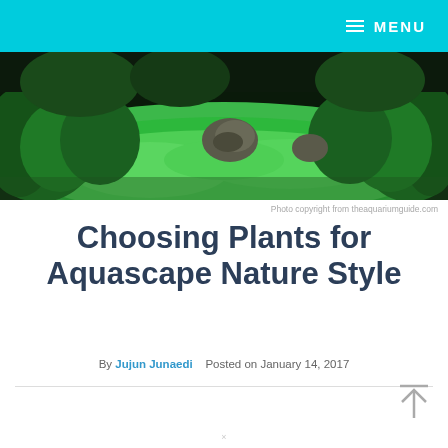MENU
[Figure (photo): Aquascape nature style aquarium with lush green carpet plants, rocks, and aquatic plants]
Photo copyright from theaquariumguide.com
Choosing Plants for Aquascape Nature Style
By Jujun Junaedi   Posted on January 14, 2017